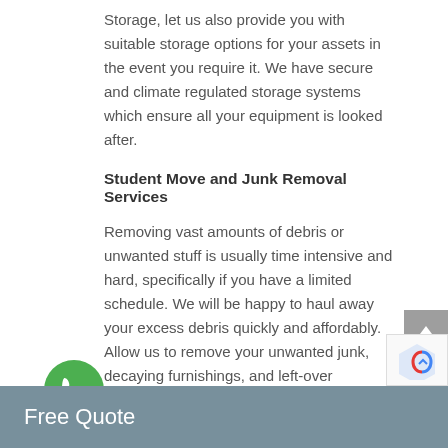Storage, let us also provide you with suitable storage options for your assets in the event you require it. We have secure and climate regulated storage systems which ensure all your equipment is looked after.
Student Move and Junk Removal Services
Removing vast amounts of debris or unwanted stuff is usually time intensive and hard, specifically if you have a limited schedule. We will be happy to haul away your excess debris quickly and affordably. Allow us to remove your unwanted junk, decaying furnishings, and left-over construction materials. Regain treasured space and make your home a lot more livable (and your neighbors significantly less grumpy). In addition we tackle tailored services which include university student moves to college
Free Quote